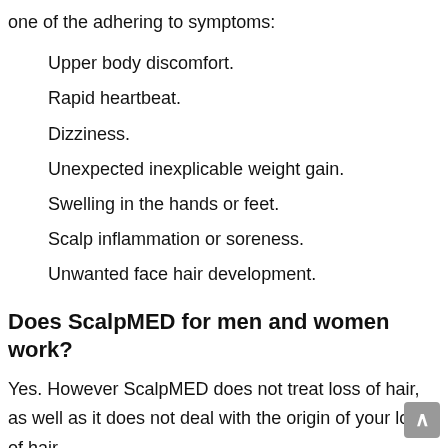one of the adhering to symptoms:
Upper body discomfort.
Rapid heartbeat.
Dizziness.
Unexpected inexplicable weight gain.
Swelling in the hands or feet.
Scalp inflammation or soreness.
Unwanted face hair development.
Does ScalpMED for men and women work?
Yes. However ScalpMED does not treat loss of hair, as well as it does not deal with the origin of your loss of hair.
Nonetheless, ScalpMED does insurance claim to regrow your